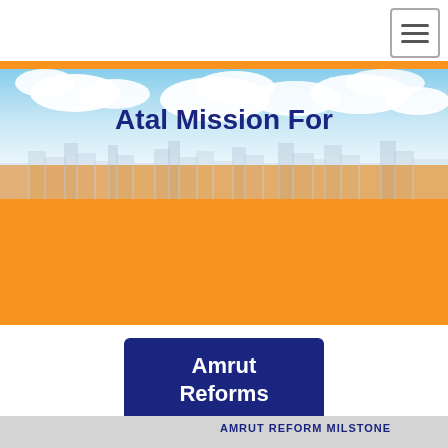[Figure (screenshot): Hamburger menu button (three horizontal lines) in upper right corner]
[Figure (photo): Hero banner image with blue sky, white clouds, and city skyline silhouette. Orange band overlaid. Bold text reads 'Atal Mission For' in dark navy blue.]
Atal Mission For
[Figure (other): Dark navy blue button with white bold text reading 'Amrut Reforms']
AMRUT REFORM MILSTONE